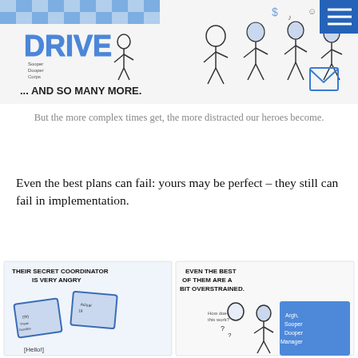[Figure (illustration): Cartoon illustrations showing 'DRIVE', 'Sooper Dooper Corps' characters and crowds with text '... AND SO MANY MORE.' Top right corner has a blue navigation menu button with hamburger icon.]
But the more complex times get, the more distracted our heroes become.
Even the best plans can fail: yours may be perfect – they still can fail in implementation.
[Figure (illustration): Two cartoon panels: left panel shows 'THEIR SECRET COORDINATOR IS VERY ANGRY' with angry computer screens; right panel shows 'EVEN THE BEST OF THEM ARE A BIT OVERSTRAINED.' with characters looking confused.]